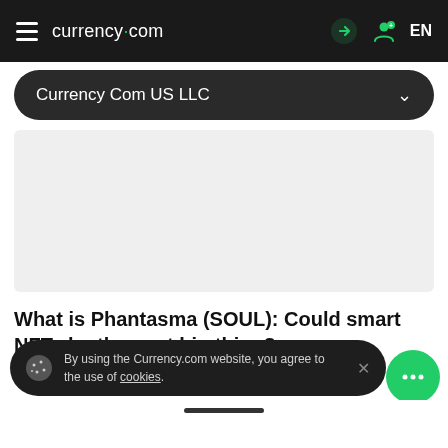currency.com  EN
Currency Com US LLC
[Figure (other): Gray banner/image placeholder area for article header image]
What is Phantasma (SOUL): Could smart NFTs be the next big thing?
By using the Currency.com website, you agree to the use of cookies.